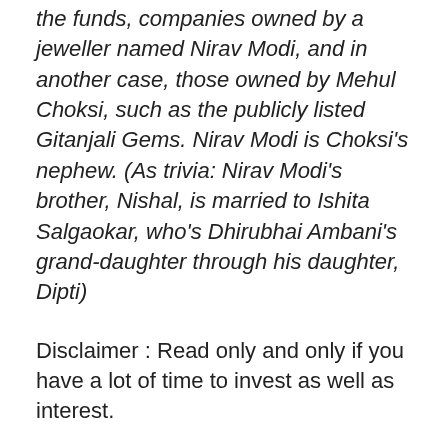the funds, companies owned by a jeweller named Nirav Modi, and in another case, those owned by Mehul Choksi, such as the publicly listed Gitanjali Gems. Nirav Modi is Choksi's nephew. (As trivia: Nirav Modi's brother, Nishal, is married to Ishita Salgaokar, who's Dhirubhai Ambani's grand-daughter through his daughter, Dipti)
Disclaimer : Read only and only if you have a lot of time to invest as well as interest.
https://capitalmind.in/2018/02/pnb-scam-nirav-modi/